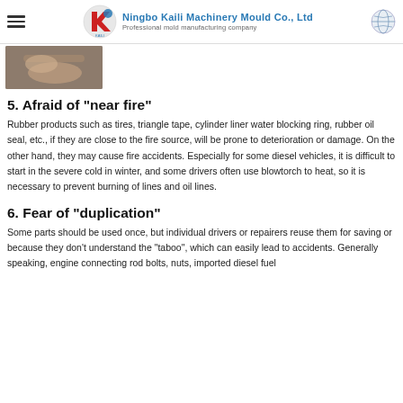Ningbo Kaili Machinery Mould Co., Ltd — Professional mold manufacturing company
[Figure (photo): Partial photo of hands near a surface, top left area of content]
5. Afraid of "near fire"
Rubber products such as tires, triangle tape, cylinder liner water blocking ring, rubber oil seal, etc., if they are close to the fire source, will be prone to deterioration or damage. On the other hand, they may cause fire accidents. Especially for some diesel vehicles, it is difficult to start in the severe cold in winter, and some drivers often use blowtorch to heat, so it is necessary to prevent burning of lines and oil lines.
6. Fear of "duplication"
Some parts should be used once, but individual drivers or repairers reuse them for saving or because they don't understand the "taboo", which can easily lead to accidents. Generally speaking, engine connecting rod bolts, nuts, imported diesel fuel